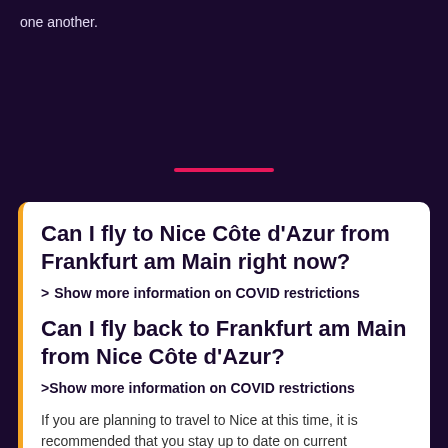one another.
Can I fly to Nice Côte d'Azur from Frankfurt am Main right now?
> Show more information on COVID restrictions
Can I fly back to Frankfurt am Main from Nice Côte d'Azur?
> Show more information on COVID restrictions
If you are planning to travel to Nice at this time, it is recommended that you stay up to date on current restrictions and follow proper safety measures while in public.